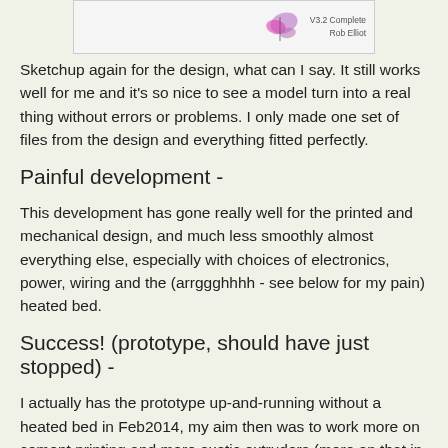[Figure (screenshot): Screenshot of a Sketchup 3D model interface showing a design with version label 'V3.2 Complete' and 'Rob Elliot']
Sketchup again for the design, what can I say. It still works well for me and it's so nice to see a model turn into a real thing without errors or problems. I only made one set of files from the design and everything fitted perfectly.
Painful development -
This development has gone really well for the printed and mechanical design, and much less smoothly almost everything else, especially with choices of electronics, power, wiring and the (arrggghhhh - see below for my pain) heated bed.
Success! (prototype, should have just stopped) -
I actually has the prototype up-and-running without a heated bed in Feb2014, my aim then was to work more on cement printing and more exotic extruders (more on that in the next post).